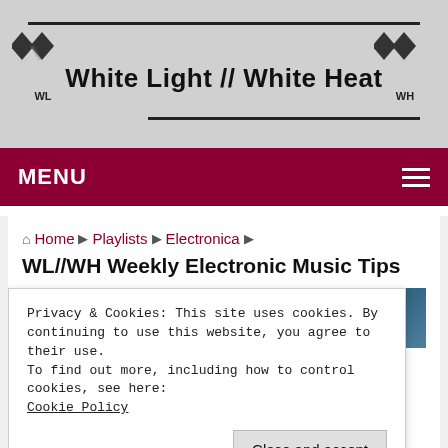White Light // White Heat
MENU
Home ▶ Playlists ▶ Electronica ▶
WL//WH Weekly Electronic Music Tips
[Figure (photo): Article thumbnail photo with blue tones]
Privacy & Cookies: This site uses cookies. By continuing to use this website, you agree to their use.
To find out more, including how to control cookies, see here:
Cookie Policy
Close and accept